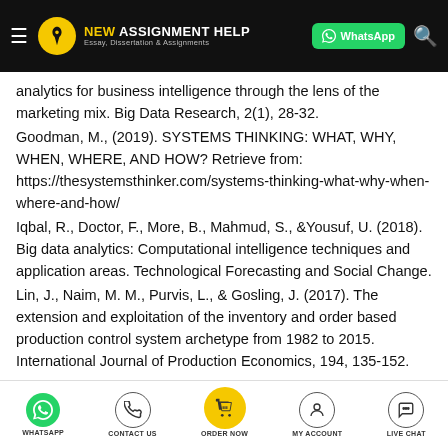NEW ASSIGNMENT HELP — Essay, Dissertation & Assignments | WhatsApp
analytics for business intelligence through the lens of the marketing mix. Big Data Research, 2(1), 28-32.
Goodman, M., (2019). SYSTEMS THINKING: WHAT, WHY, WHEN, WHERE, AND HOW? Retrieve from: https://thesystemsthinker.com/systems-thinking-what-why-when-where-and-how/
Iqbal, R., Doctor, F., More, B., Mahmud, S., &Yousuf, U. (2018). Big data analytics: Computational intelligence techniques and application areas. Technological Forecasting and Social Change.
Lin, J., Naim, M. M., Purvis, L., & Gosling, J. (2017). The extension and exploitation of the inventory and order based production control system archetype from 1982 to 2015. International Journal of Production Economics, 194, 135-152.
WHATSAPP | CONTACT US | ORDER NOW | MY ACCOUNT | LIVE CHAT